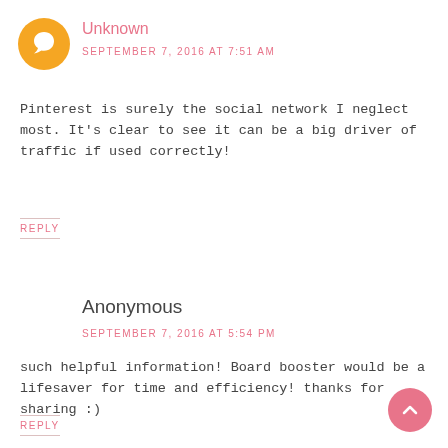Unknown
SEPTEMBER 7, 2016 AT 7:51 AM
Pinterest is surely the social network I neglect most. It's clear to see it can be a big driver of traffic if used correctly!
REPLY
Anonymous
SEPTEMBER 7, 2016 AT 5:54 PM
such helpful information! Board booster would be a lifesaver for time and efficiency! thanks for sharing :)
REPLY